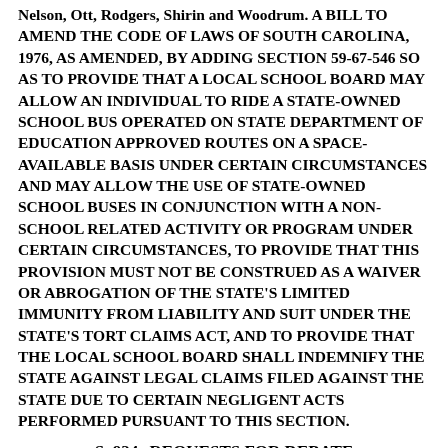Nelson, Ott, Rodgers, Shirin and Woodrum. A BILL TO AMEND THE CODE OF LAWS OF SOUTH CAROLINA, 1976, AS AMENDED, BY ADDING SECTION 59-67-546 SO AS TO PROVIDE THAT A LOCAL SCHOOL BOARD MAY ALLOW AN INDIVIDUAL TO RIDE A STATE-OWNED SCHOOL BUS OPERATED ON STATE DEPARTMENT OF EDUCATION APPROVED ROUTES ON A SPACE-AVAILABLE BASIS UNDER CERTAIN CIRCUMSTANCES AND MAY ALLOW THE USE OF STATE-OWNED SCHOOL BUSES IN CONJUNCTION WITH A NON-SCHOOL RELATED ACTIVITY OR PROGRAM UNDER CERTAIN CIRCUMSTANCES, TO PROVIDE THAT THIS PROVISION MUST NOT BE CONSTRUED AS A WAIVER OR ABROGATION OF THE STATE'S LIMITED IMMUNITY FROM LIABILITY AND SUIT UNDER THE STATE'S TORT CLAIMS ACT, AND TO PROVIDE THAT THE LOCAL SCHOOL BOARD SHALL INDEMNIFY THE STATE AGAINST LEGAL CLAIMS FILED AGAINST THE STATE DUE TO CERTAIN NEGLIGENT ACTS PERFORMED PURSUANT TO THIS SECTION.
S. 924--REQUESTS FOR DEBATE
The following Joint Resolution was taken up:
S. 924 (Word version) -- Senators Setzler, Moore, Mescher, Saleeby, Thomas, Giese, Courson, Short, Bauer, O'Dell, Alexander,